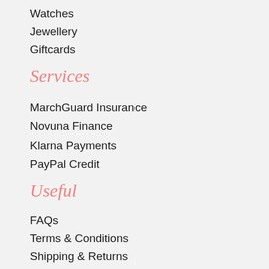Watches
Jewellery
Giftcards
Services
MarchGuard Insurance
Novuna Finance
Klarna Payments
PayPal Credit
Useful
FAQs
Terms & Conditions
Shipping & Returns
Privacy